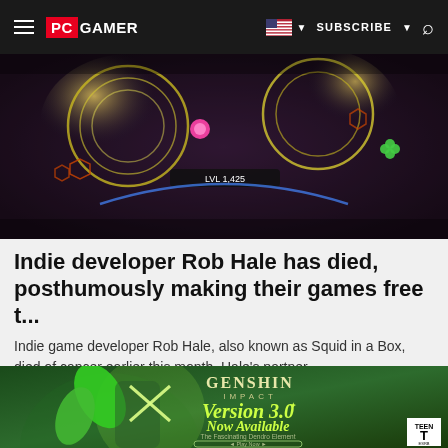PC GAMER | SUBSCRIBE
[Figure (screenshot): Top-down view of a colorful indie game with hexagonal patterns, glowing circles, and neon lights on dark background]
Indie developer Rob Hale has died, posthumously making their games free t...
Indie game developer Rob Hale, also known as Squid in a Box, died of cancer earlier this month. Hale's partner,...
PC Gamer
[Figure (illustration): Genshin Impact Version 3.0 Now Available advertisement featuring an anime character with green motif and the text 'The Fascinating Dendro Element' with a 'Play Now' button and TEEN rating]